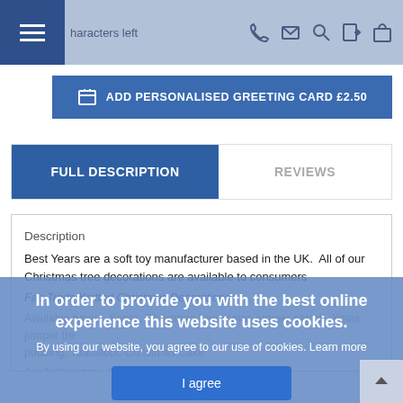characters left
ADD PERSONALISED GREETING CARD £2.50
FULL DESCRIPTION
REVIEWS
Description
Best Years are a soft toy manufacturer based in the UK.  All of our Christmas tree decorations are available to consumers
Fair Trade Knitted Christmas Decorations.
Available types:  Santa, Christmas tree, Xmas jumper carrot,  Xmas jumper tree pudding, Toadstool, Christmas Cake
Available sizes:  One size
In order to provide you with the best online experience this website uses cookies.
By using our website, you agree to our use of cookies. Learn more
I agree